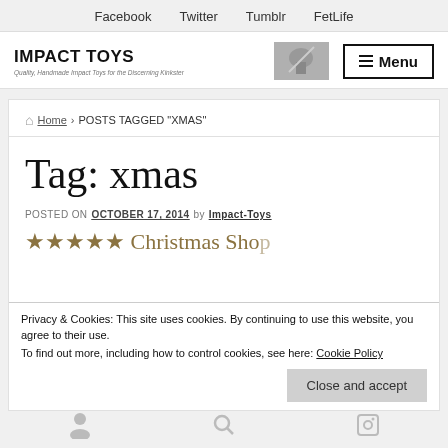Facebook   Twitter   Tumblr   FetLife
[Figure (screenshot): Impact Toys website header with logo, tagline, header image, and Menu button]
Home › POSTS TAGGED "XMAS"
Tag: xmas
POSTED ON OCTOBER 17, 2014 by Impact-Toys
Privacy & Cookies: This site uses cookies. By continuing to use this website, you agree to their use.
To find out more, including how to control cookies, see here: Cookie Policy
Close and accept